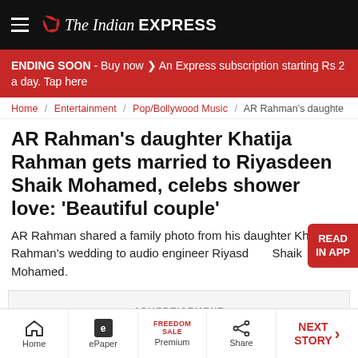The Indian EXPRESS
ENDING SOON - Buy now ❱ An Express subscription starting Rs 2 a day. Tap here
Home / Entertainment / Pop/Bollywood Music / AR Rahman's daughter
AR Rahman's daughter Khatija Rahman gets married to Riyasdeen Shaik Mohamed, celebs shower love: 'Beautiful couple'
AR Rahman shared a family photo from his daughter Khatija Rahman's wedding to audio engineer Riyasdeen Shaik Mohamed.
ADVERTISEMENT
Home  ePaper  Premium  Share  NEXT STORY